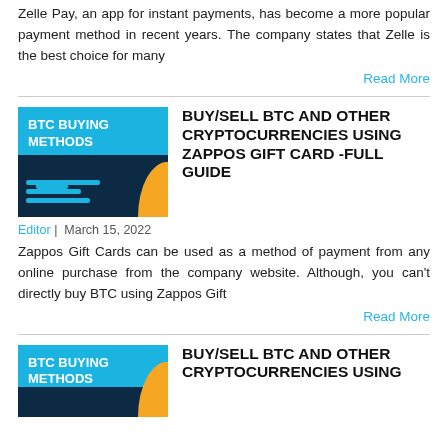Zelle Pay, an app for instant payments, has become a more popular payment method in recent years. The company states that Zelle is the best choice for many
Read More
[Figure (illustration): BTC Buying Methods thumbnail with blue background and dark panel showing form interface]
BUY/SELL BTC AND OTHER CRYPTOCURRENCIES USING ZAPPOS GIFT CARD -FULL GUIDE
Editor | March 15, 2022
Zappos Gift Cards can be used as a method of payment from any online purchase from the company website. Although, you can't directly buy BTC using Zappos Gift
Read More
[Figure (illustration): BTC Buying Methods thumbnail with blue background]
BUY/SELL BTC AND OTHER CRYPTOCURRENCIES USING